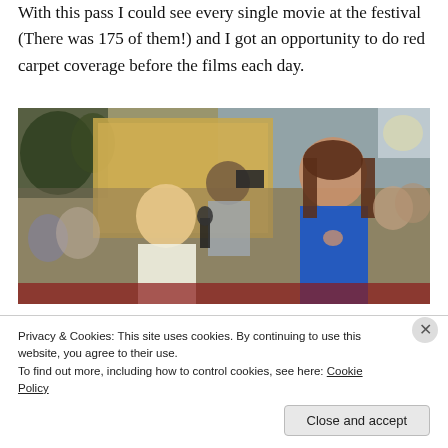With this pass I could see every single movie at the festival (There was 175 of them!) and I got an opportunity to do red carpet coverage before the films each day.
[Figure (photo): A woman with long blonde hair interviewing a woman in a blue dress on a red carpet, with a cameraman and other press photographers visible in the background.]
Privacy & Cookies: This site uses cookies. By continuing to use this website, you agree to their use.
To find out more, including how to control cookies, see here: Cookie Policy